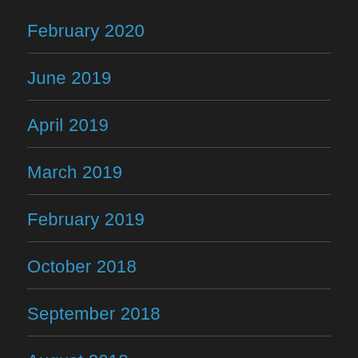February 2020
June 2019
April 2019
March 2019
February 2019
October 2018
September 2018
August 2018